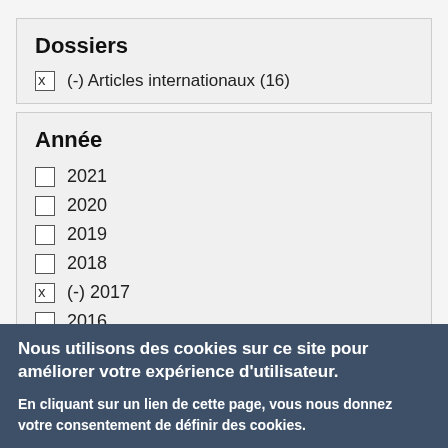Dossiers
x  (-) Articles internationaux (16)
Année
☐ 2021
☐ 2020
☐ 2019
☐ 2018
x  (-) 2017
☐ 2016
Nous utilisons des cookies sur ce site pour améliorer votre expérience d'utilisateur.
En cliquant sur un lien de cette page, vous nous donnez votre consentement de définir des cookies.